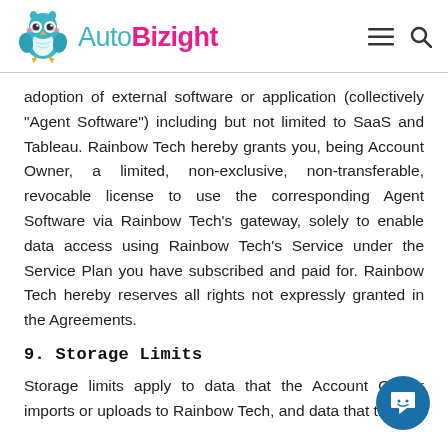AutoBizight
adoption of external software or application (collectively "Agent Software") including but not limited to SaaS and Tableau. Rainbow Tech hereby grants you, being Account Owner, a limited, non-exclusive, non-transferable, revocable license to use the corresponding Agent Software via Rainbow Tech's gateway, solely to enable data access using Rainbow Tech's Service under the Service Plan you have subscribed and paid for. Rainbow Tech hereby reserves all rights not expressly granted in the Agreements.
9. Storage Limits
Storage limits apply to data that the Account Owner imports or uploads to Rainbow Tech, and data that the